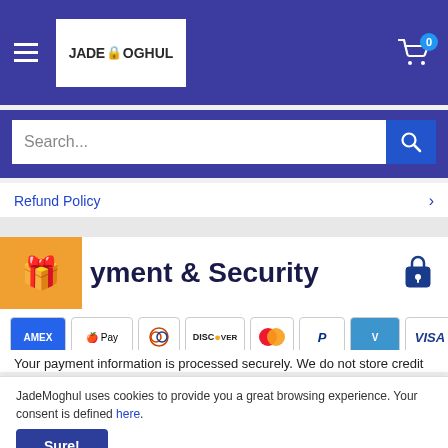[Figure (logo): JadeMoghul logo with lock icon in white box, on blue header bar]
Search...
Refund Policy
Payment & Security
[Figure (other): Payment method icons: American Express, Apple Pay, Diners Club, Discover, Mastercard, PayPal, Venmo, Visa]
Your payment information is processed securely. We do not store credit
JadeMoghul uses cookies to provide you a great browsing experience. Your consent is defined here.